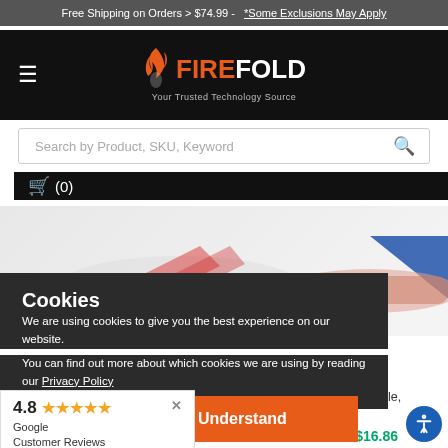Free Shipping on Orders > $74.99 - *Some Exclusions May Apply
[Figure (logo): FireFold logo with flame icon and tagline 'Your Trusted Technology Source']
Search by Product, SKU, Keyword
🛒 (0)
[Figure (photo): Partially visible product image showing cable crimping tools with orange and black handles]
Cookies
We are using cookies to give you the best experience on our website.
You can find out more about which cookies we are using by reading our Privacy Policy
I Understand
4.8 ★★★★★
Google Customer Reviews
tic Cable Adjustable, Um
On Sale $16.86